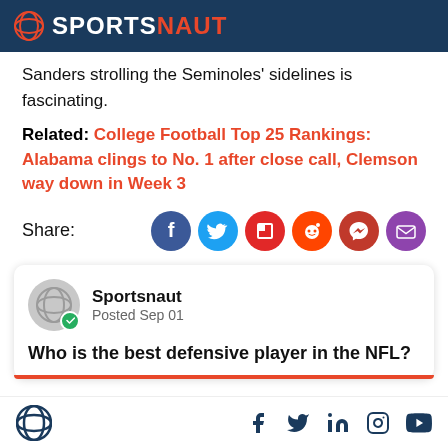SPORTSNAUT
Sanders strolling the Seminoles' sidelines is fascinating.
Related: College Football Top 25 Rankings: Alabama clings to No. 1 after close call, Clemson way down in Week 3
Share:
[Figure (infographic): Social share buttons: Facebook, Twitter, Flipboard, Reddit, Messenger, Email]
[Figure (infographic): Sportsnaut social card: avatar with green badge, Posted Sep 01, question: Who is the best defensive player in the NFL?]
Sportsnaut logo and social media icons: Facebook, Twitter, LinkedIn, Instagram, YouTube